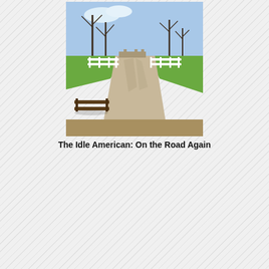[Figure (photo): Photo of a park path with wooden railings, bare trees, green grass, and a bridge in the background on a sunny day.]
The Idle American: On the Road Again
[Figure (illustration): Colorful illustrated book/podcast cover for 'The Great Peanut Butter Conspiracy' featuring a toucan, a woman with glasses, and stylized text.]
The Bird: Meet the Characters of Magnolia Bluff